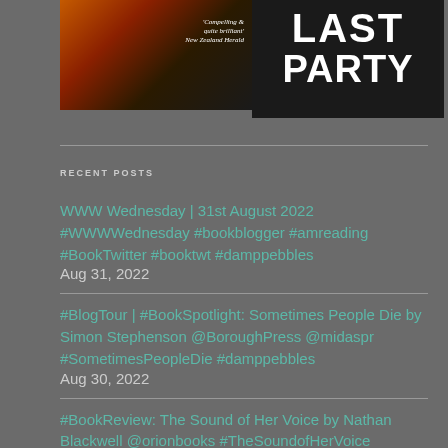[Figure (photo): Two book covers side by side: left cover shows a dark thriller with city lights background and text 'Compelling & quite brilliant - New Zealand Herald'; right cover shows a dark background with large white bold text reading 'LAST PARTY']
WWW Wednesday | 31st August 2022 #WWWWednesday #bookblogger #amreading #BookTwitter #booktwt #damppebbles Aug 31, 2022
#BlogTour | #BookSpotlight: Sometimes People Die by Simon Stephenson @BoroughPress @midaspr #SometimesPeopleDie #damppebbles Aug 30, 2022
#BookReview: The Sound of Her Voice by Nathan Blackwell @orionbooks #TheSoundofHerVoice